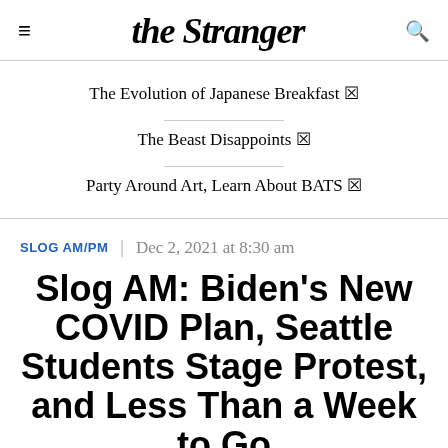the Stranger
The Evolution of Japanese Breakfast 🔗
The Beast Disappoints 🔗
Party Around Art, Learn About BATS 🔗
SLOG AM/PM  |  Dec 2, 2021 at 8:30 am
Slog AM: Biden's New COVID Plan, Seattle Students Stage Protest, and Less Than a Week to Go